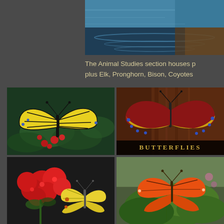[Figure (photo): Water surface with reflections, top portion of the page]
The Animal Studies section houses p... plus Elk, Pronghorn, Bison, Coyotes...
[Figure (photo): Yellow and black swallowtail butterfly on red flowers with green leaves]
[Figure (photo): Dark red butterfly with yellow and blue border markings resting on brown wood surface with label BUTTERFLIES]
[Figure (photo): Yellow butterfly on red pentas flowers]
[Figure (photo): Orange butterfly resting on green leaf]